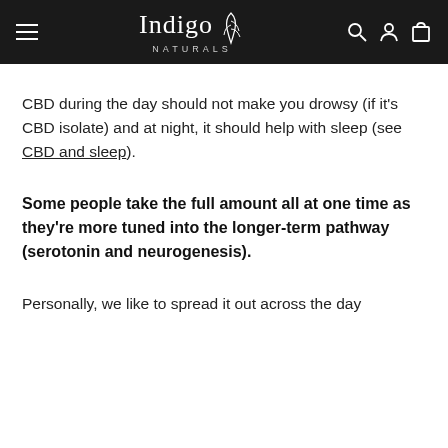Indigo Naturals
CBD during the day should not make you drowsy (if it's CBD isolate) and at night, it should help with sleep (see CBD and sleep).
Some people take the full amount all at one time as they're more tuned into the longer-term pathway (serotonin and neurogenesis).
Personally, we like to spread it out across the day